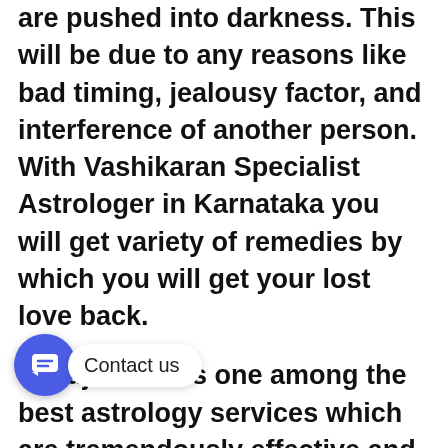are pushed into darkness. This will be due to any reasons like bad timing, jealousy factor, and interference of another person. With Vashikaran Specialist Astrologer in Karnataka you will get variety of remedies by which you will get your lost love back.
Guruji delivers one among the best astrology services which are tremendously effective and provides the specified outcomes. He has been practicing the various astrology techniques and has helped thousands of people of varied problematic situations. His vashikaran mantras and love spells will assist you to get the
[Figure (other): Chat widget button with speech bubble icon and 'Contact us' label]